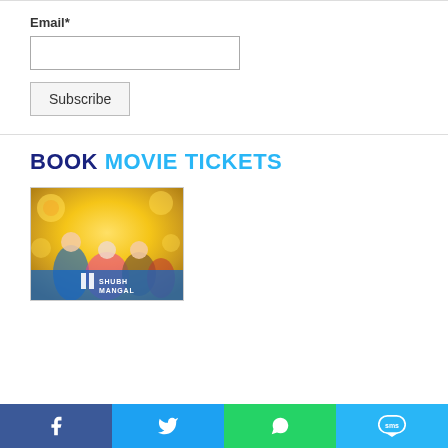Email*
Subscribe
BOOK MOVIE TICKETS
[Figure (photo): Movie poster for Shubh Mangal Saavdhan showing a group of people in colorful Indian wedding attire with a golden/festive background]
[Figure (infographic): Social media share bar with Facebook, Twitter, WhatsApp, and SMS icons]